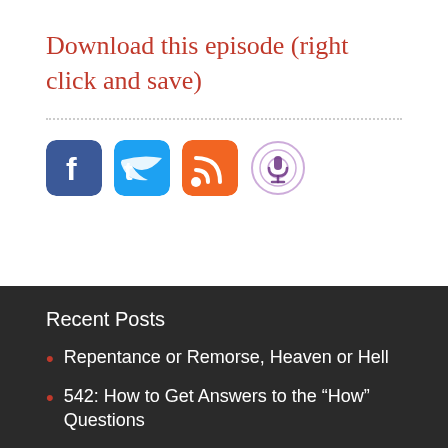Download this episode (right click and save)
[Figure (other): Social media icons: Facebook, Twitter, RSS feed, Podcast]
Recent Posts
Repentance or Remorse, Heaven or Hell
542: How to Get Answers to the “How” Questions